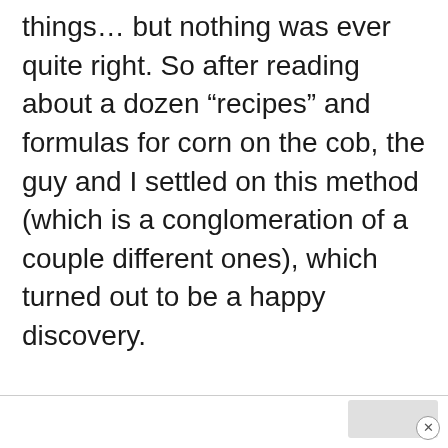things… but nothing was ever quite right. So after reading about a dozen “recipes” and formulas for corn on the cob, the guy and I settled on this method (which is a conglomeration of a couple different ones), which turned out to be a happy discovery.